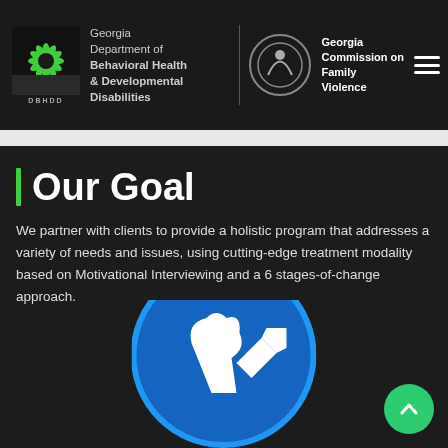Atlanta Treatment Center | DBHDD | Georgia Department of Behavioral Health & Developmental Disabilities | Georgia Commission on Family Violence
Our Goal
We partner with clients to provide a holistic program that addresses a variety of needs and issues, using cutting-edge treatment modality based on Motivational Interviewing and a 6 stages-of-change approach.
[Figure (logo): Blue circular logo with white figure/arrow symbol representing motivational change]